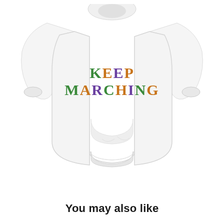[Figure (photo): A white hoodie sweatshirt displayed flat with the text 'KEEP MARCHING' printed on the chest in colorful block letters — green, orange, and purple colors.]
You may also like